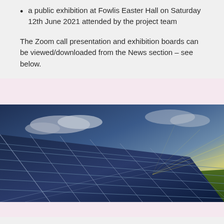a public exhibition at Fowlis Easter Hall on Saturday 12th June 2021 attended by the project team
The Zoom call presentation and exhibition boards can be viewed/downloaded from the News section – see below.
[Figure (photo): Solar panel array photographed at low angle against a dramatic sky with bright sunlight on the horizon and green field in background.]